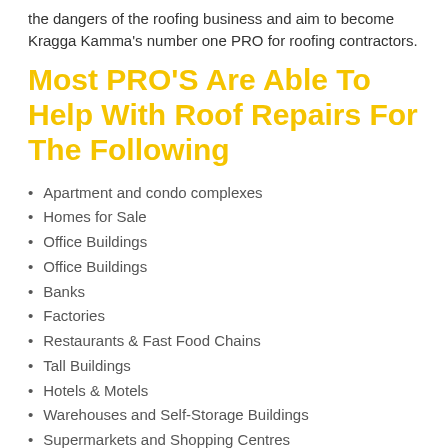the dangers of the roofing business and aim to become Kragga Kamma's number one PRO for roofing contractors.
Most PRO'S Are Able To Help With Roof Repairs For The Following
Apartment and condo complexes
Homes for Sale
Office Buildings
Office Buildings
Banks
Factories
Restaurants & Fast Food Chains
Tall Buildings
Hotels & Motels
Warehouses and Self-Storage Buildings
Supermarkets and Shopping Centres